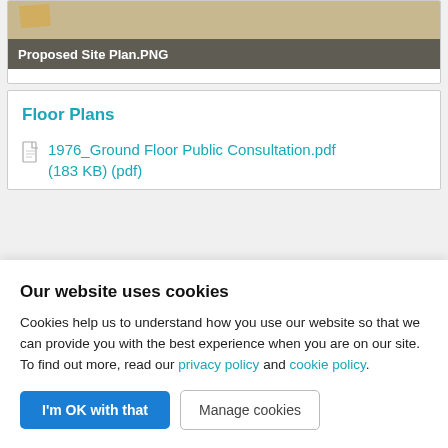[Figure (screenshot): Screenshot thumbnail of Proposed Site Plan PNG file]
Proposed Site Plan.PNG
Floor Plans
1976_Ground Floor Public Consultation.pdf (183 KB) (pdf)
Our website uses cookies
Cookies help us to understand how you use our website so that we can provide you with the best experience when you are on our site. To find out more, read our privacy policy and cookie policy.
I'm OK with that
Manage cookies